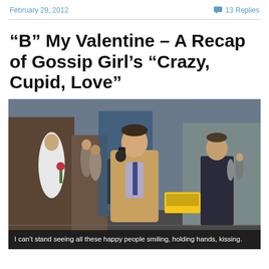February 29, 2012    💬 13 Replies
“B” My Valentine – A Recap of Gossip Girl’s “Crazy, Cupid, Love”
[Figure (photo): A young man in a tan coat talking on a phone, walking on a city street. A woman in a white coat and a man in a dark coat are visible in the background. Subtitle reads: I can't stand seeing all these happy people smiling, holding hands, kissing.]